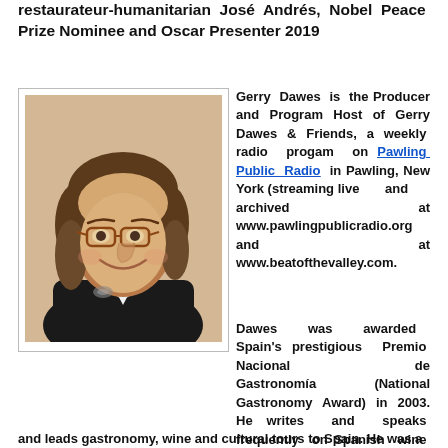restaurateur-humanitarian José Andrés, Nobel Peace Prize Nominee and Oscar Presenter 2019
[Figure (photo): Headshot photo of Gerry Dawes, a man with shoulder-length gray-brown hair, wearing glasses and a tuxedo with a bow tie, smiling.]
Gerry Dawes is the Producer and Program Host of Gerry Dawes & Friends, a weekly radio progam on Pawling Public Radio in Pawling, New York (streaming live and archived at www.pawlingpublicradio.org and at www.beatofthevalley.com.
Dawes was awarded Spain's prestigious Premio Nacional de Gastronomía (National Gastronomy Award) in 2003. He writes and speaks frequently on Spanish wine and gastronomy and leads gastronomy, wine and cultural tours to Spain. He was a